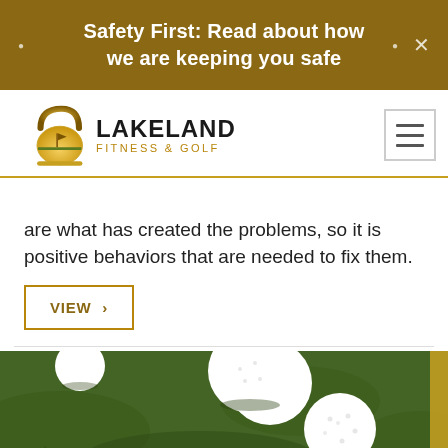Safety First: Read about how we are keeping you safe
[Figure (logo): Lakeland Fitness & Golf logo with kettlebell/golf imagery]
are what has created the problems, so it is positive behaviors that are needed to fix them.
VIEW ›
[Figure (photo): Golf balls on green grass]